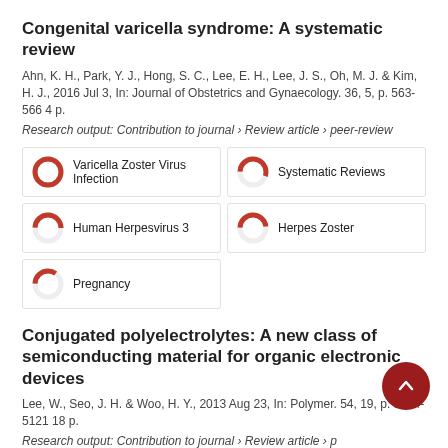Congenital varicella syndrome: A systematic review
Ahn, K. H., Park, Y. J., Hong, S. C., Lee, E. H., Lee, J. S., Oh, M. J. & Kim, H. J., 2016 Jul 3, In: Journal of Obstetrics and Gynaecology. 36, 5, p. 563-566 4 p.
Research output: Contribution to journal › Review article › peer-review
[Figure (infographic): Five keyword badges with donut-chart fill indicators: Varicella Zoster Virus Infection (100%), Systematic Reviews (~55%), Human Herpesvirus 3 (~50%), Herpes Zoster (~48%), Pregnancy (~35%)]
Conjugated polyelectrolytes: A new class of semiconducting material for organic electronic devices
Lee, W., Seo, J. H. & Woo, H. Y., 2013 Aug 23, In: Polymer. 54, 19, p. 5104-5121 18 p.
Research output: Contribution to journal › Review article › peer-review
Open Access